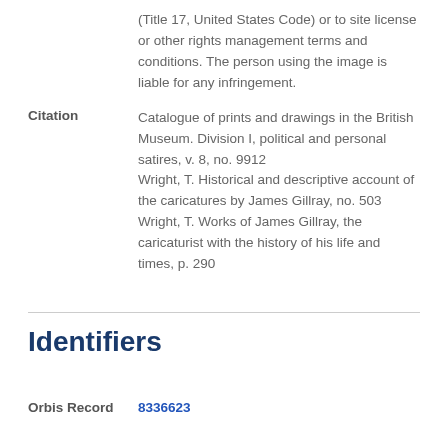(Title 17, United States Code) or to site license or other rights management terms and conditions. The person using the image is liable for any infringement.
Citation
Catalogue of prints and drawings in the British Museum. Division I, political and personal satires, v. 8, no. 9912
Wright, T. Historical and descriptive account of the caricatures by James Gillray, no. 503
Wright, T. Works of James Gillray, the caricaturist with the history of his life and times, p. 290
Identifiers
Orbis Record 8336623